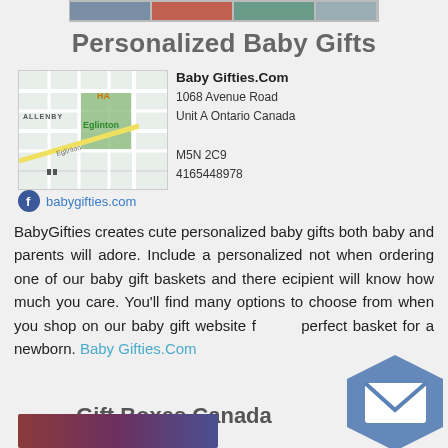[Figure (screenshot): Top banner with image thumbnails]
Personalized Baby Gifts
[Figure (map): Street map showing Eglinton area near Allenby, Toronto]
Baby Gifties.Com
1068 Avenue Road
Unit A Ontario Canada
M5N 2C9
4165448978
babygifties.com
BabyGifties creates cute personalized baby gifts both baby and parents will adore. Include a personalized not when ordering one of our baby gift baskets and there ecipient will know how much you care. You'll find many options to choose from when you shop on our baby gift website for the perfect basket for a newborn. Baby Gifties.Com
Gift Boxes Canada
[Figure (screenshot): Bottom partial image thumbnail]
[Figure (other): Blue hexagonal mail/email button overlay]